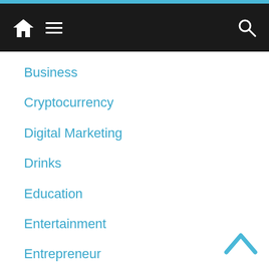Navigation bar with home, menu, and search icons
Business
Cryptocurrency
Digital Marketing
Drinks
Education
Entertainment
Entrepreneur
Fashion
FEATURED
Female
Finance
Food
Gadgets